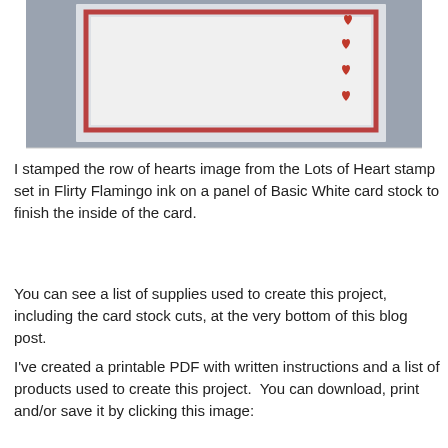[Figure (photo): Photo of the inside of a handmade card on a gray background. The card interior shows a white panel with a red border frame and a column of small red heart stamps along the right side.]
I stamped the row of hearts image from the Lots of Heart stamp set in Flirty Flamingo ink on a panel of Basic White card stock to finish the inside of the card.
You can see a list of supplies used to create this project, including the card stock cuts, at the very bottom of this blog post.
I've created a printable PDF with written instructions and a list of products used to create this project.  You can download, print and/or save it by clicking this image: